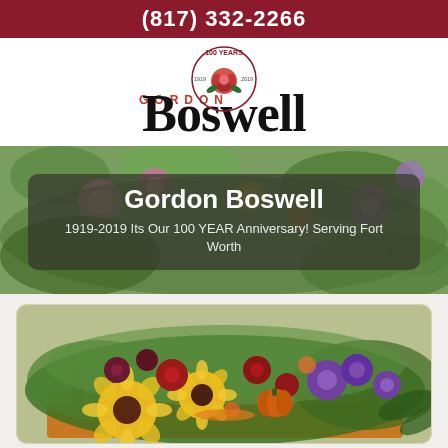(817) 332-2266
[Figure (logo): Gordon Boswell Flowers 100 Years logo with rose, 1919-2019]
[Figure (photo): Banner photo of colorful flowers with overlay text: Gordon Boswell — 1919-2019 Its Our 100 YEAR Anniversary! Serving Fort Worth]
[Figure (photo): Product photo of autumn flower arrangement in orange wooden box with sunflowers, purple flowers, red roses, and small pumpkin]